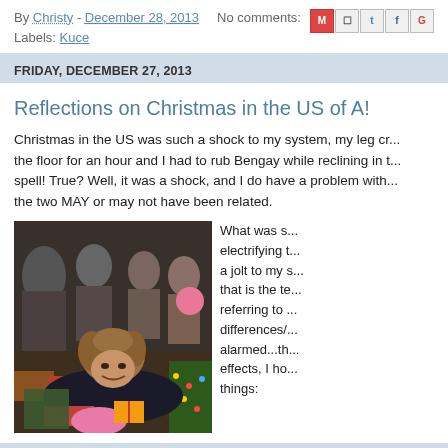By Christy - December 28, 2013   No comments:   [M][B][t][f][G]
Labels: Kuce
FRIDAY, DECEMBER 27, 2013
Reflections on Christmas in the US of A!
Christmas in the US was such a shock to my system, my leg cr... the floor for an hour and I had to rub Bengay while reclining in t... spell! True? Well, it was a shock, and I do have a problem with... the two MAY or may not have been related.
[Figure (photo): A young woman with curly hair lying on the floor smiling, surrounded by Christmas presents and decorations, with other people visible in the background.]
What was s... electrifying t... a jolt to my s... that is the te... referring to ... differences/... alarmed...th... effects, I ho... things: